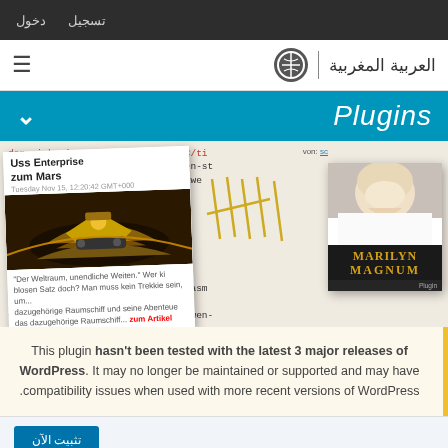تسجيل  دخول
العربية المغربية | WordPress logo
Plugins
[Figure (screenshot): WordPress plugin screenshot showing code editor, blog post cards, and Marilyn Magnum book cover]
This plugin hasn't been tested with the latest 3 major releases of WordPress. It may no longer be maintained or supported and may have compatibility issues when used with more recent versions of WordPress.